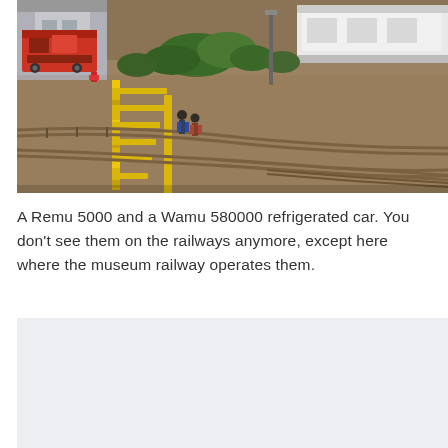[Figure (photo): Aerial view of a model or real railway yard showing multiple tracks with brown gravel ballast, yellow safety barriers, green vegetation/bushes, a red locomotive at upper left near a building, and a white refrigerated freight car at upper right. Small figures of workers visible near the yellow barriers.]
A Remu 5000 and a Wamu 580000 refrigerated car. You don't see them on the railways anymore, except here where the museum railway operates them.
[Figure (photo): Partially visible second photograph (bottom portion cut off), appears to show a light gray/blue background — likely another railway related photo.]